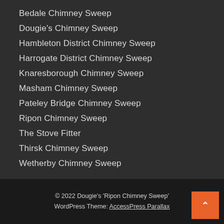Bedale Chimney Sweep
Dougie's Chimney Sweep
Hambleton District Chimney Sweep
Harrogate District Chimney Sweep
Knaresborough Chimney Sweep
Masham Chimney Sweep
Pateley Bridge Chimney Sweep
Ripon Chimney Sweep
The Stove Fitter
Thirsk Chimney Sweep
Wetherby Chimney Sweep
© 2022 Dougie's 'Ripon Chimney Sweep' WordPress Theme: AccessPress Parallax